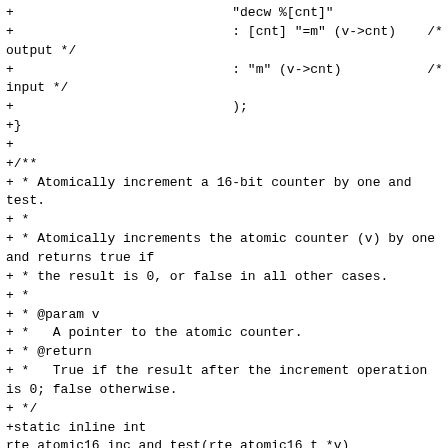+                            "decw %[cnt]"
+                            : [cnt] "=m" (v->cnt)    /*
output */
+                            : "m" (v->cnt)           /*
input */
+                            );
+}
+
+/**
+ * Atomically increment a 16-bit counter by one and test.
+ *
+ * Atomically increments the atomic counter (v) by one and returns true if
+ * the result is 0, or false in all other cases.
+ *
+ * @param v
+ *   A pointer to the atomic counter.
+ * @return
+ *   True if the result after the increment operation is 0; false otherwise.
+ */
+static inline int
rte_atomic16_inc_and_test(rte_atomic16_t *v)
+{
+        uint8_t ret;
+
+        asm volatile(
+                            MPLOCKED
+                            "incw %[cnt] : "